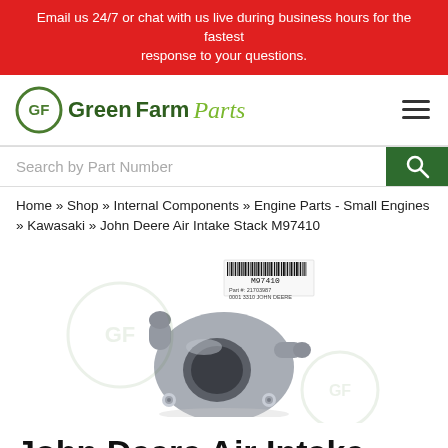Email us 24/7 or chat with us live during business hours for the fastest response to your questions.
[Figure (logo): GreenFarmParts logo with circular GF emblem and stylized text]
Search by Part Number
Home » Shop » Internal Components » Engine Parts - Small Engines » Kawasaki » John Deere Air Intake Stack M97410
[Figure (photo): John Deere Air Intake Stack M97410 - grey plastic air intake manifold component with barcode label M97410]
John Deere Air Intake Stack M97410